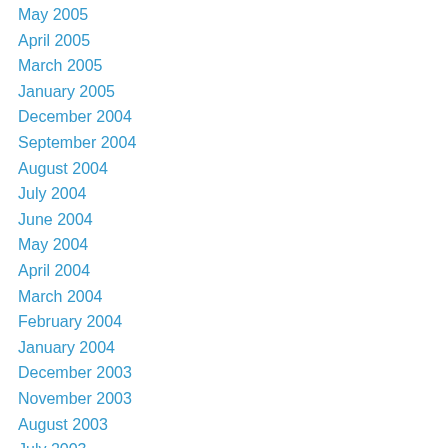May 2005
April 2005
March 2005
January 2005
December 2004
September 2004
August 2004
July 2004
June 2004
May 2004
April 2004
March 2004
February 2004
January 2004
December 2003
November 2003
August 2003
July 2003
June 2003
May 2003